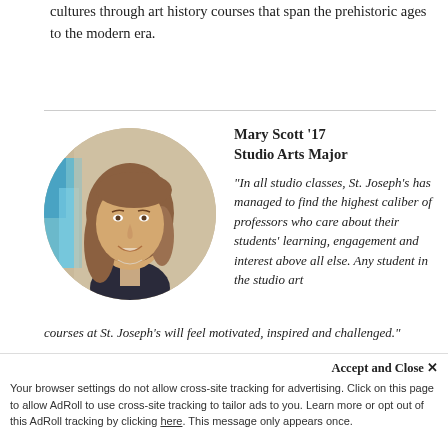cultures through art history courses that span the prehistoric ages to the modern era.
[Figure (photo): Circular portrait photo of Mary Scott, a young woman with long blonde-brown hair, smiling, with blue artwork visible in the background.]
Mary Scott '17
Studio Arts Major
"In all studio classes, St. Joseph's has managed to find the highest caliber of professors who care about their students' learning, engagement and interest above all else. Any student in the studio art courses at St. Joseph's will feel motivated, inspired and challenged."
Accept and Close ✕
Your browser settings do not allow cross-site tracking for advertising. Click on this page to allow AdRoll to use cross-site tracking to tailor ads to you. Learn more or opt out of this AdRoll tracking by clicking here. This message only appears once.